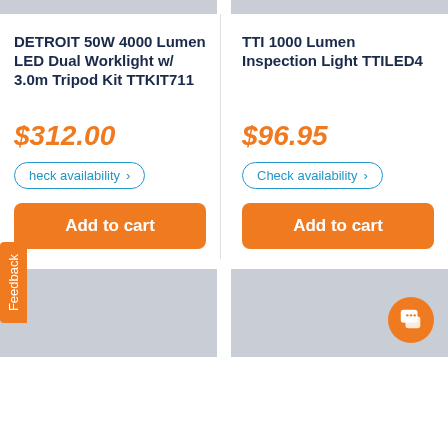[Figure (photo): Top partial image strip - left product image placeholder (gray)]
[Figure (photo): Top partial image strip - right product image placeholder (gray)]
DETROIT 50W 4000 Lumen LED Dual Worklight w/ 3.0m Tripod Kit TTKIT711
$312.00
Check availability >
Add to cart
TTI 1000 Lumen Inspection Light TTILED4
$96.95
Check availability >
Add to cart
[Figure (photo): Bottom left product image placeholder (gray)]
[Figure (photo): Bottom right product image placeholder (gray) with chat bubble icon]